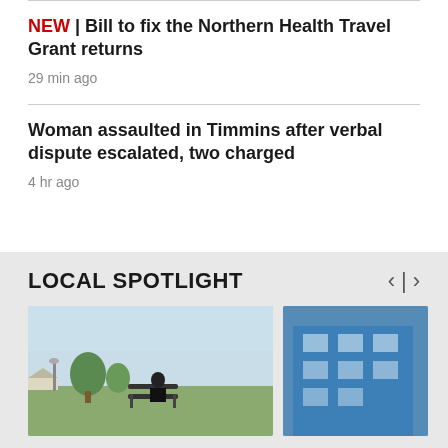NEW | Bill to fix the Northern Health Travel Grant returns
29 min ago
Woman assaulted in Timmins after verbal dispute escalated, two charged
4 hr ago
LOCAL SPOTLIGHT
[Figure (photo): Person sitting on a park bench outdoors, trees and sky visible in background]
[Figure (photo): Blue building exterior, partial view]